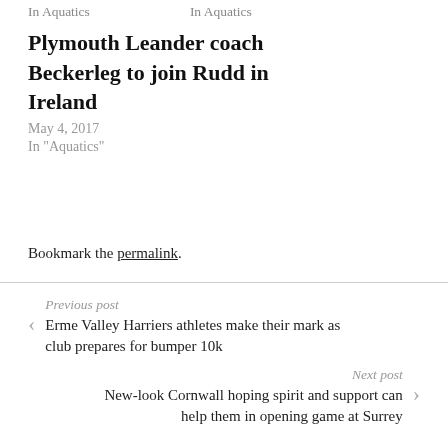In  Aquatics    In  Aquatics
Plymouth Leander coach Beckerleg to join Rudd in Ireland
May 4, 2017
In "Aquatics"
Bookmark the permalink.
Previous post
Erme Valley Harriers athletes make their mark as club prepares for bumper 10k
Next post
New-look Cornwall hoping spirit and support can help them in opening game at Surrey
Leave a Reply